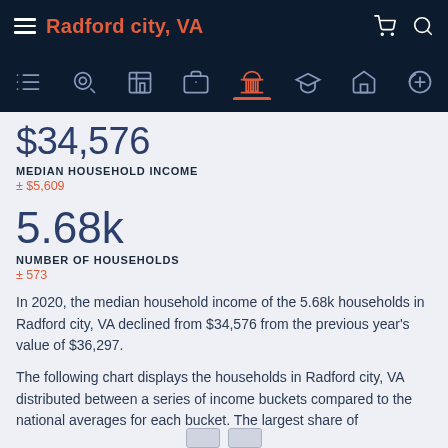Radford city, VA
$34,576
MEDIAN HOUSEHOLD INCOME
± $5,609
5.68k
NUMBER OF HOUSEHOLDS
± 573
In 2020, the median household income of the 5.68k households in Radford city, VA declined from $34,576 from the previous year's value of $36,297.
The following chart displays the households in Radford city, VA distributed between a series of income buckets compared to the national averages for each bucket. The largest share of households have an income in the < $10k range.